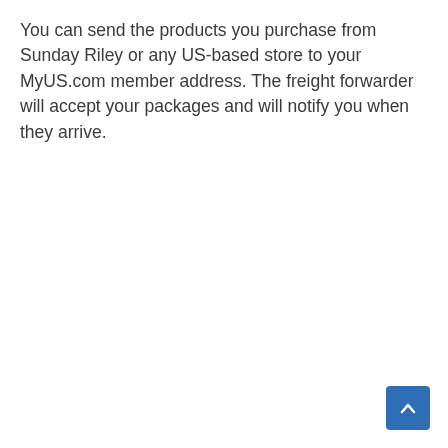You can send the products you purchase from Sunday Riley or any US-based store to your MyUS.com member address. The freight forwarder will accept your packages and will notify you when they arrive.
[Figure (other): Blue scroll-to-top button with a white upward-pointing chevron arrow, positioned in the bottom-right corner.]